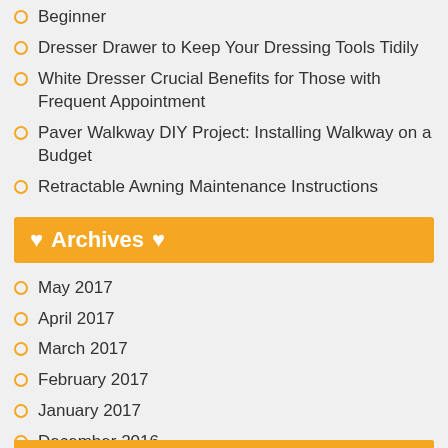Beginner
Dresser Drawer to Keep Your Dressing Tools Tidily
White Dresser Crucial Benefits for Those with Frequent Appointment
Paver Walkway DIY Project: Installing Walkway on a Budget
Retractable Awning Maintenance Instructions
♥ Archives ♥
May 2017
April 2017
March 2017
February 2017
January 2017
December 2016
November 2016
October 2016
September 2016
August 2016
July 2016